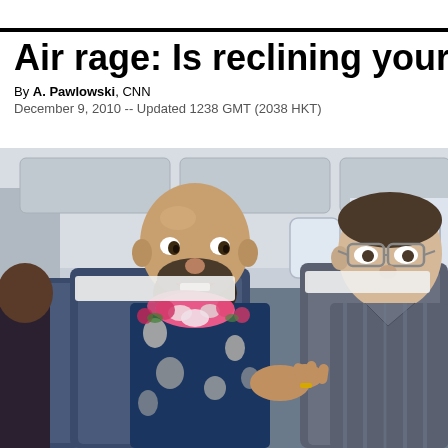Air rage: Is reclining your seat
By A. Pawlowski, CNN
December 9, 2010 -- Updated 1238 GMT (2038 HKT)
[Figure (photo): Two men sitting in airplane seats. One man wearing a blue Hawaiian shirt and a pink and white floral lei, bald with a beard, appears to be arguing or talking animatedly. The other man to his right wears glasses and a striped shirt. Airplane interior visible in the background with windows and overhead compartments.]